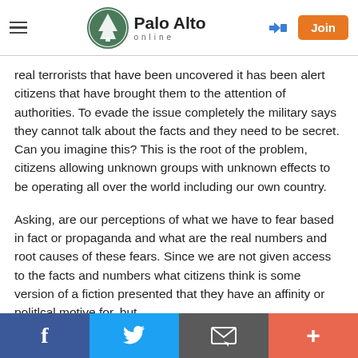Palo Alto online
real terrorists that have been uncovered it has been alert citizens that have brought them to the attention of authorities. To evade the issue completely the military says they cannot talk about the facts and they need to be secret. Can you imagine this? This is the root of the problem, citizens allowing unknown groups with unknown effects to be operating all over the world including our own country.
Asking, are our perceptions of what we have to fear based in fact or propaganda and what are the real numbers and root causes of these fears. Since we are not given access to the facts and numbers what citizens think is some version of a fiction presented that they have an affinity or politlcal motive for, but
Facebook | Twitter | Email | +